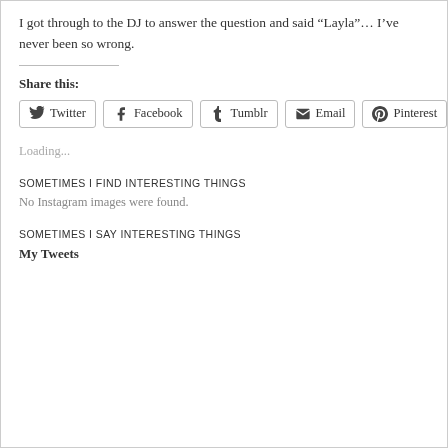I got through to the DJ to answer the question and said “Layla”… I’ve never been so wrong.
Share this:
[Figure (other): Social share buttons: Twitter, Facebook, Tumblr, Email, Pinterest]
Loading...
SOMETIMES I FIND INTERESTING THINGS
No Instagram images were found.
SOMETIMES I SAY INTERESTING THINGS
My Tweets